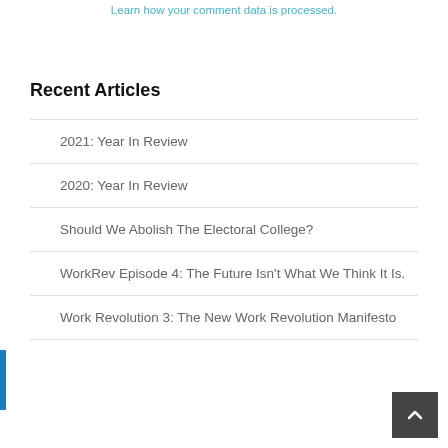Learn how your comment data is processed.
Recent Articles
2021: Year In Review
2020: Year In Review
Should We Abolish The Electoral College?
WorkRev Episode 4: The Future Isn't What We Think It Is.
Work Revolution 3: The New Work Revolution Manifesto